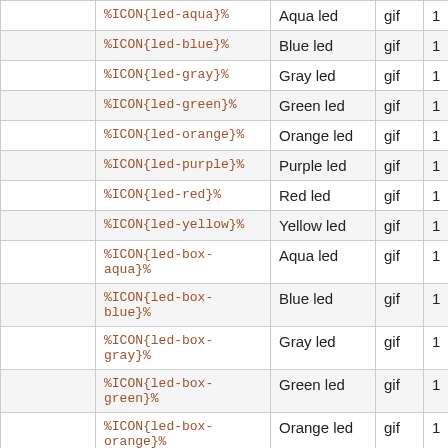|  | Markup | Description | Format |  |
| --- | --- | --- | --- | --- |
|  | %ICON{led-aqua}% | Aqua led | gif | 1 |
|  | %ICON{led-blue}% | Blue led | gif | 1 |
|  | %ICON{led-gray}% | Gray led | gif | 1 |
|  | %ICON{led-green}% | Green led | gif | 1 |
|  | %ICON{led-orange}% | Orange led | gif | 1 |
|  | %ICON{led-purple}% | Purple led | gif | 1 |
|  | %ICON{led-red}% | Red led | gif | 1 |
|  | %ICON{led-yellow}% | Yellow led | gif | 1 |
|  | %ICON{led-box-aqua}% | Aqua led | gif | 1 |
|  | %ICON{led-box-blue}% | Blue led | gif | 1 |
|  | %ICON{led-box-gray}% | Gray led | gif | 1 |
|  | %ICON{led-box-green}% | Green led | gif | 1 |
|  | %ICON{led-box-orange}% | Orange led | gif | 1 |